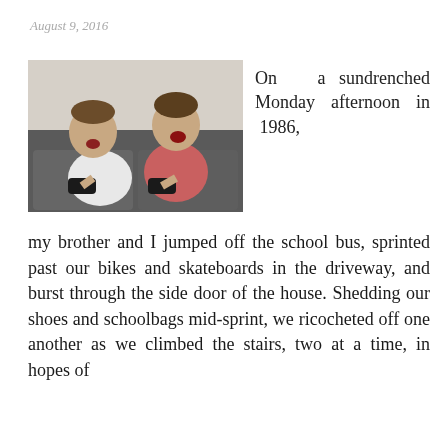August 9, 2016
[Figure (photo): Two young boys sitting on a sofa, excitedly playing video games with game controllers, mouths open in excitement]
On a sundrenched Monday afternoon in 1986,
my brother and I jumped off the school bus, sprinted past our bikes and skateboards in the driveway, and burst through the side door of the house. Shedding our shoes and schoolbags mid-sprint, we ricocheted off one another as we climbed the stairs, two at a time, in hopes of